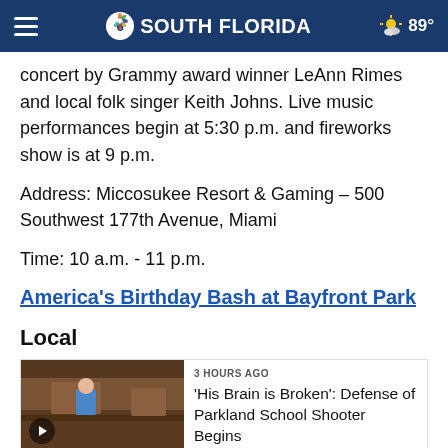NBC 6 SOUTH FLORIDA — 89°
concert by Grammy award winner LeAnn Rimes and local folk singer Keith Johns. Live music performances begin at 5:30 p.m. and fireworks show is at 9 p.m.
Address: Miccosukee Resort & Gaming – 500 Southwest 177th Avenue, Miami
Time: 10 a.m. - 11 p.m.
America's Birthday Bash at Bayfront Park
Local
3 HOURS AGO
'His Brain is Broken': Defense of Parkland School Shooter Begins